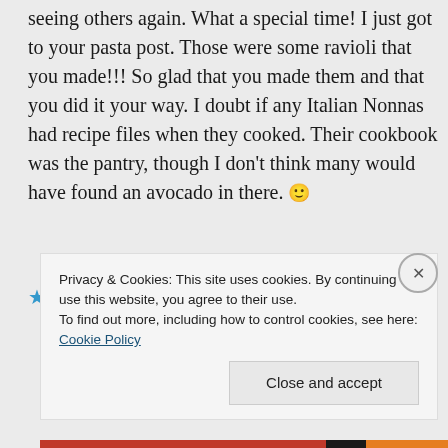seeing others again. What a special time! I just got to your pasta post. Those were some ravioli that you made!!! So glad that you made them and that you did it your way. I doubt if any Italian Nonnas had recipe files when they cooked. Their cookbook was the pantry, though I don't think many would have found an avocado in there. 🙂
★ Like
Privacy & Cookies: This site uses cookies. By continuing to use this website, you agree to their use.
To find out more, including how to control cookies, see here: Cookie Policy
Close and accept